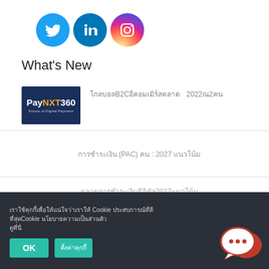[Figure (logo): Social media icons: Twitter (blue bird), LinkedIn (blue), Instagram (gradient)]
What's New
[Figure (logo): PayNXT360 logo - Future of Digital Payment]
โกลบอลB2Cอีคอมเมิร์สตลาด 2022ณ2คน
การชำระเงิน (PAC) คน : 2027 แนวโน้ม
ตลาดการชำระเงินดิจิทัล2027แนวโน้ม
เราใช้คุกกี้เพื่อให้แน่ใจว่าเราให้ Cookie ประสบการณ์ที่ดีที่สุดCookie นโยบายความเป็นส่วนตัว ดูที่นี่
[Figure (illustration): Red and white chat bubble icon]